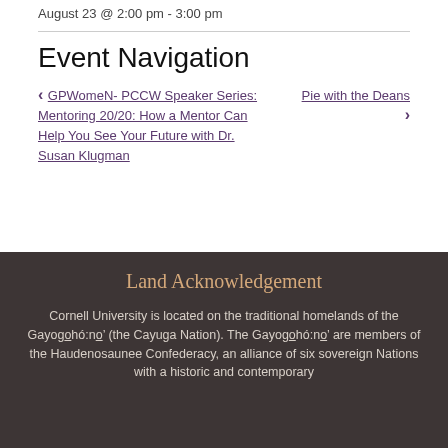August 23 @ 2:00 pm - 3:00 pm
Event Navigation
‹ GPWomeN- PCCW Speaker Series: Mentoring 20/20: How a Mentor Can Help You See Your Future with Dr. Susan Klugman
Pie with the Deans ›
Land Acknowledgement
Cornell University is located on the traditional homelands of the Gayogọhó:nọ' (the Cayuga Nation). The Gayogọhó:nọ' are members of the Haudenosaunee Confederacy, an alliance of six sovereign Nations with a historic and contemporary